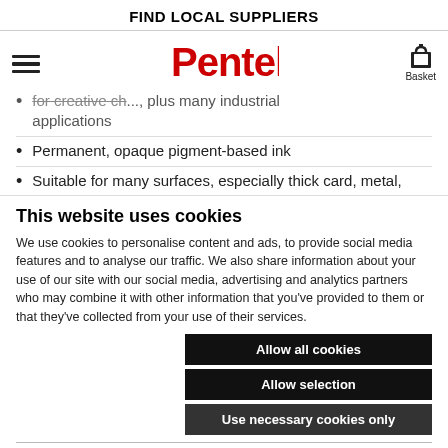FIND LOCAL SUPPLIERS
[Figure (logo): Pentel logo in red with hamburger menu icon and basket icon]
for creative ch..., plus many industrial applications
Permanent, opaque pigment-based ink
Suitable for many surfaces, especially thick card, metal,
This website uses cookies
We use cookies to personalise content and ads, to provide social media features and to analyse our traffic. We also share information about your use of our site with our social media, advertising and analytics partners who may combine it with other information that you've provided to them or that they've collected from your use of their services.
Allow all cookies
Allow selection
Use necessary cookies only
Necessary  Preferences  Statistics  Marketing  Show details